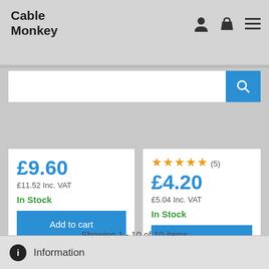[Figure (logo): Cable Monkey logo in bold dark text]
[Figure (screenshot): Search bar with blue search button]
£9.60
£11.52 Inc. VAT
In Stock
Add to cart
More Info
★★★★★ (5)
£4.20
£5.04 Inc. VAT
In Stock
Add to cart
More Info
Showing 1 - 10 of 10 items
Information